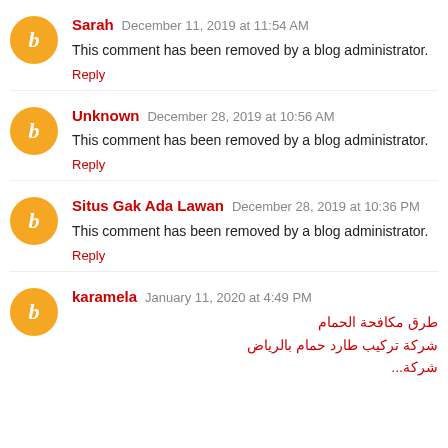Sarah  December 11, 2019 at 11:54 AM
This comment has been removed by a blog administrator.
Reply
Unknown  December 28, 2019 at 10:56 AM
This comment has been removed by a blog administrator.
Reply
Situs Gak Ada Lawan  December 28, 2019 at 10:36 PM
This comment has been removed by a blog administrator.
Reply
karamela  January 11, 2020 at 4:49 PM
طرق مكافحة الحمام
شركة تركيب طارد حمام بالرياض
شركة...